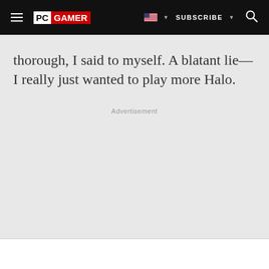PC GAMER | SUBSCRIBE
thorough, I said to myself. A blatant lie—I really just wanted to play more Halo.
Advertisement